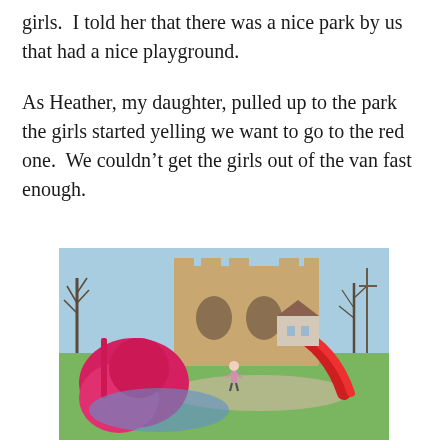girls.  I told her that there was a nice park by us that had a nice playground.
As Heather, my daughter, pulled up to the park the girls started yelling we want to go to the red one.  We couldn’t get the girls out of the van fast enough.
[Figure (photo): A colorful playground in a park featuring a large bright red/pink castle-shaped climbing structure with slides, surrounded by trees and green grass on a sunny day. A small child is visible near the structure.]